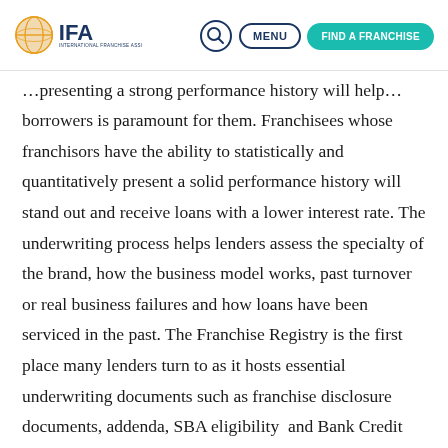IFA International Franchise Association | MENU | FIND A FRANCHISE
borrowers is paramount for them. Franchisees whose franchisors have the ability to statistically and quantitatively present a solid performance history will stand out and receive loans with a lower interest rate. The underwriting process helps lenders assess the specialty of the brand, how the business model works, past turnover or real business failures and how loans have been serviced in the past. The Franchise Registry is the first place many lenders turn to as it hosts essential underwriting documents such as franchise disclosure documents, addenda, SBA eligibility and Bank Credit Reports. The registry also has 5,000 lender members that franchisees can contact, in addition to...